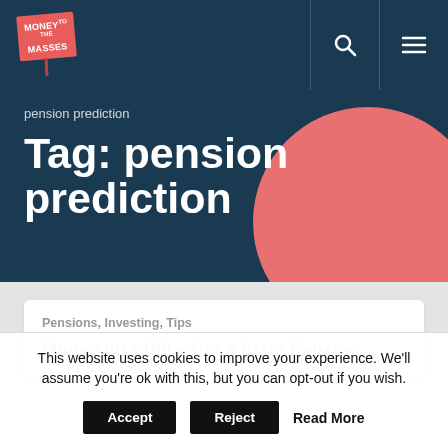Money to the Masses — navigation bar with logo, search, and menu icons
pension prediction
Tag: pension prediction
Pensions, Investing, Tips
Money tip #100 – Get a State Pension…
This website uses cookies to improve your experience. We'll assume you're ok with this, but you can opt-out if you wish.
Accept  Reject  Read More